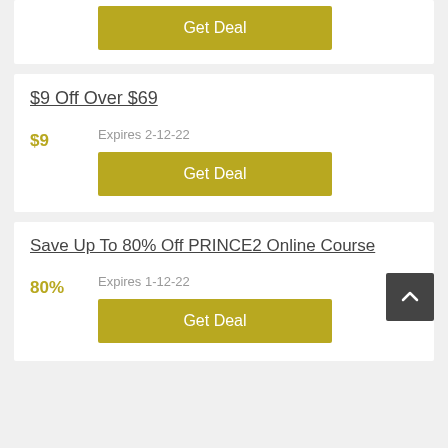Get Deal
$9 Off Over $69
$9
Expires 2-12-22
Get Deal
Save Up To 80% Off PRINCE2 Online Course
80%
Expires 1-12-22
Get Deal